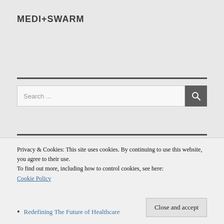MEDI+SWARM
Search ...
Privacy & Cookies: This site uses cookies. By continuing to use this website, you agree to their use.
To find out more, including how to control cookies, see here:
Cookie Policy
Redefining The Future of Healthcare